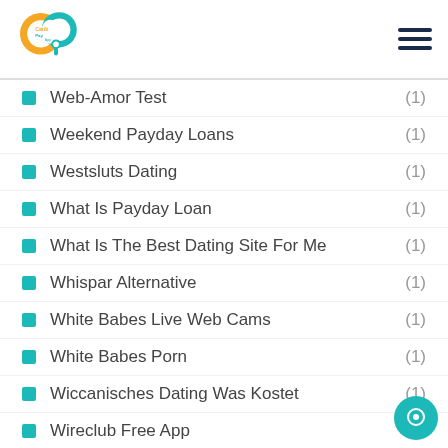Carib Pay App [logo] [hamburger menu]
Web-Amor Test (1)
Weekend Payday Loans (1)
Westsluts Dating (1)
What Is Payday Loan (1)
What Is The Best Dating Site For Me (1)
Whispar Alternative (1)
White Babes Live Web Cams (1)
White Babes Porn (1)
Wiccanisches Dating Was Kostet (1)
Wireclub Free App (1)
Wisconsin Payday Loans Near Me (1)